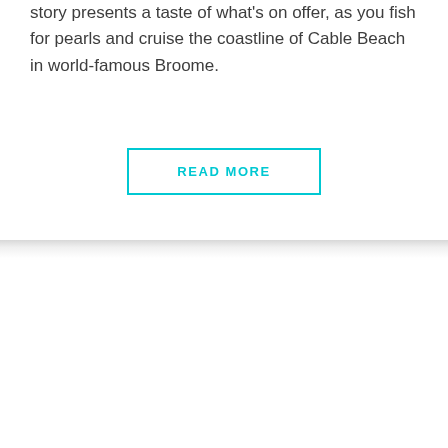story presents a taste of what's on offer, as you fish for pearls and cruise the coastline of Cable Beach in world-famous Broome.
READ MORE